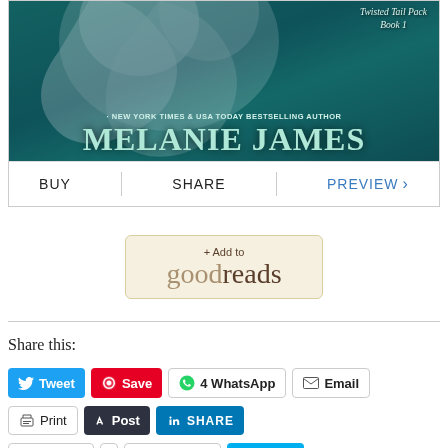[Figure (illustration): Book cover for Twisted Tail Pack Book 1 by Melanie James, New York Times & USA Today Bestselling Author, featuring a wolf on a teal/dark background with author name in large letters]
BUY | SHARE | PREVIEW >
[Figure (logo): + Add to goodreads button]
Share this:
Tweet
Save
4 WhatsApp
Email
Print
Post
SHARE
Pocket
0
Telegram
Share